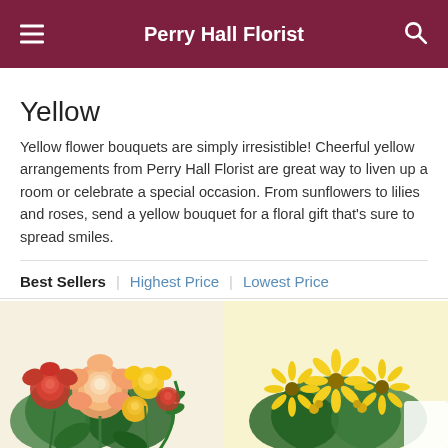Perry Hall Florist
Yellow
Yellow flower bouquets are simply irresistible! Cheerful yellow arrangements from Perry Hall Florist are great way to liven up a room or celebrate a special occasion. From sunflowers to lilies and roses, send a yellow bouquet for a floral gift that's sure to spread smiles.
Best Sellers | Highest Price | Lowest Price
[Figure (photo): Mixed bouquet with peach and red roses, yellow flowers, and green foliage]
[Figure (photo): Yellow daisy and sunflower bouquet arrangement]